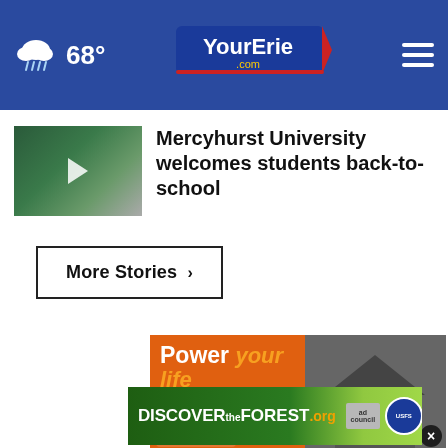68° YourErie.com
Mercyhurst University welcomes students back-to-school
More Stories ›
[Figure (infographic): Generac ad: Power your life. Make power outages a thing of the past with a natural gas home standby generator. Shows generator unit and house photo.]
[Figure (infographic): DISCOVERtheFOREST.org advertisement with ad council and US Forest Service logos]